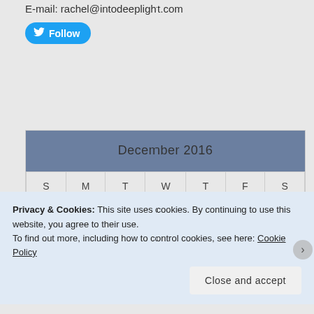E-mail: rachel@intodeeplight.com
[Figure (other): Twitter Follow button in blue rounded rectangle with Twitter bird icon]
| S | M | T | W | T | F | S |
| --- | --- | --- | --- | --- | --- | --- |
|  |  |  |  | 1 | 2 | 3 |
| 4 | 5 | 6 | 7 | 8 | 9 | 10 |
Privacy & Cookies: This site uses cookies. By continuing to use this website, you agree to their use.
To find out more, including how to control cookies, see here: Cookie Policy
Close and accept